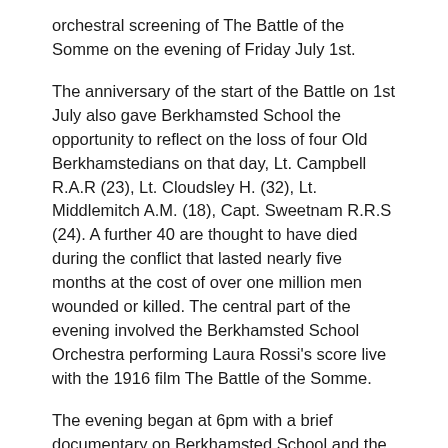orchestral screening of The Battle of the Somme on the evening of Friday July 1st.
The anniversary of the start of the Battle on 1st July also gave Berkhamsted School the opportunity to reflect on the loss of four Old Berkhamstedians on that day, Lt. Campbell R.A.R (23), Lt. Cloudsley H. (32), Lt. Middlemitch A.M. (18), Capt. Sweetnam R.R.S (24). A further 40 are thought to have died during the conflict that lasted nearly five months at the cost of over one million men wounded or killed. The central part of the evening involved the Berkhamsted School Orchestra performing Laura Rossi's score live with the 1916 film The Battle of the Somme.
The evening began at 6pm with a brief documentary on Berkhamsted School and the